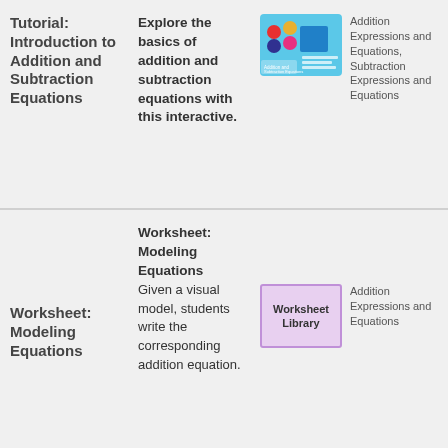Tutorial: Introduction to Addition and Subtraction Equations
Explore the basics of addition and subtraction equations with this interactive.
[Figure (illustration): Thumbnail image for Addition and Subtraction Equations tutorial showing colored dots and a blue square]
Addition Expressions and Equations, Subtraction Expressions and Equations
Worksheet: Modeling Equations
Worksheet: Modeling Equations
Given a visual model, students write the corresponding addition equation.
[Figure (illustration): Worksheet Library thumbnail image with purple border]
Addition Expressions and Equations
Worksheet: